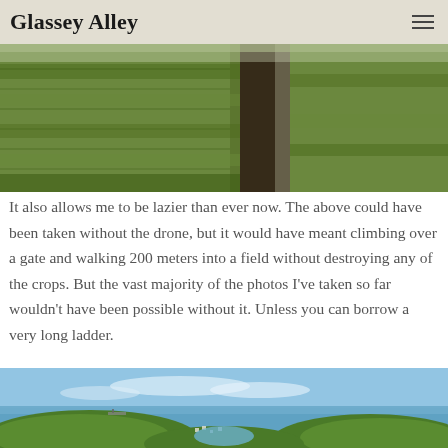Glassey Alley
[Figure (photo): Aerial drone photo of a green field with tall crops/grass, dark soil track visible, taken from above]
It also allows me to be lazier than ever now. The above could have been taken without the drone, but it would have meant climbing over a gate and walking 200 meters into a field without destroying any of the crops. But the vast majority of the photos I've taken so far wouldn't have been possible without it. Unless you can borrow a very long ladder.
[Figure (photo): Aerial drone photo of a coastal landscape in Cornwall showing green hills, a small village, a bay/estuary, blue sky with light clouds, and a distant ship on the sea]